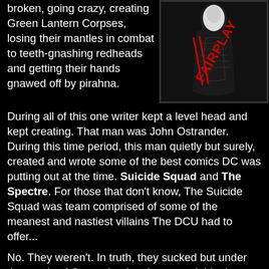broken, going crazy, creating Green Lantern Corpses, losing their mantles in combat to teeth-gnashing redheads and getting their hands gnawed off by pirahna.
[Figure (photo): Dark image of a character in a costume with 'FAIRPLAY' text visible, on a black background]
During all of this one writer kept a level head and kept creating. That man was John Ostrander. During this time period, this man quietly but surely, created and wrote some of the best comics DC was putting out at the time. Suicide Squad and The Spectre. For those that don't know, The Suicide Squad was team comprised of some of the meanest and nastiest villains The DCU had to offer...
No. They weren't. In truth, they sucked but under the words of Ostrander they became viable threats to humanity. The Squad were villains who the government had in their employ and should they succeed in whatever suicide mission they were sent on, inched just that much closer to release. Simply put, in order to live, they had to be willing to die. I was fascinated. The members of The Suicide Squad suddenly